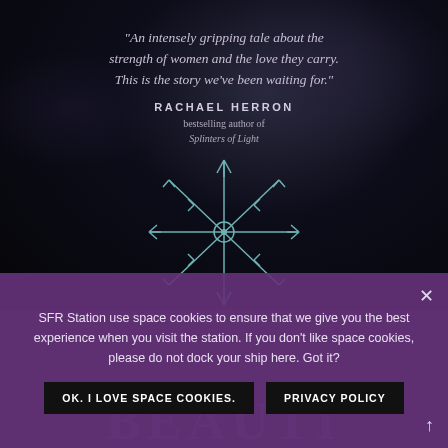[Figure (illustration): Dark atmospheric book cover background with a Nordic/Viking snowflake-style compass symbol (Vegvísir) drawn in light teal lines, centered in the lower half of the dark image area]
"An intensely gripping tale about the strength of women and the love they carry. This is the story we've been waiting for."
RACHAEL HERRON
bestselling author of
Splinters of Light
SFR Station use space cookies to ensure that we give you the best experience when you visit the station. If you don't like space cookies, please do not dock your ship here. Got it?
OK. I LOVE SPACE COOKIES.
PRIVACY POLICY
BEAUTIFUL